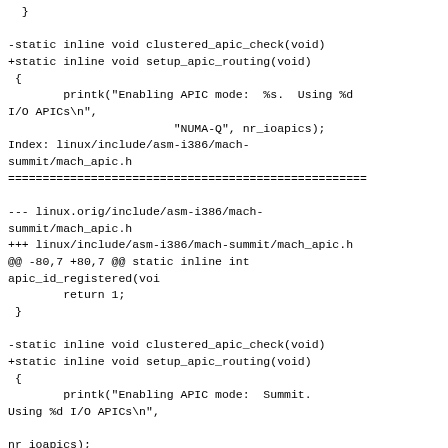}
-static inline void clustered_apic_check(void)
+static inline void setup_apic_routing(void)
 {
        printk("Enabling APIC mode:  %s.  Using %d I/O APICs\n",
                        "NUMA-Q", nr_ioapics);
Index: linux/include/asm-i386/mach-summit/mach_apic.h
===================================================
--- linux.orig/include/asm-i386/mach-summit/mach_apic.h
+++ linux/include/asm-i386/mach-summit/mach_apic.h
@@ -80,7 +80,7 @@ static inline int apic_id_registered(voi
        return 1;
 }

-static inline void clustered_apic_check(void)
+static inline void setup_apic_routing(void)
 {
        printk("Enabling APIC mode:  Summit. Using %d I/O APICs\n",

nr_ioapics);
Index: linux/include/asm-i386/mach-visws/mach_apic.h
===================================================
--- linux.orig/include/asm-i386/mach-